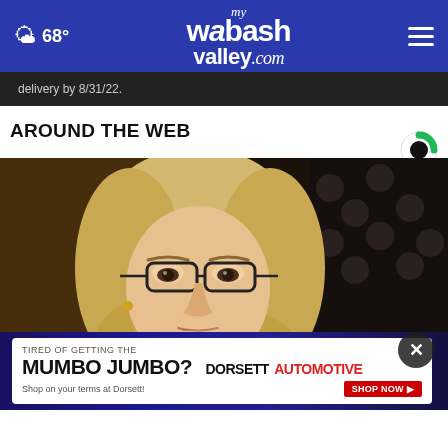68° mywabashvalley.com
delivery by 8/31/22.
AROUND THE WEB
[Figure (photo): Close-up photo of a blonde woman with glasses looking serious, appearing to be at a hearing or official proceeding with dark background and American flag visible]
TIRED OF GETTING THE MUMBO JUMBO? Shop on your terms at Dorsett! DORSETT AUTOMOTIVE SHOP NOW